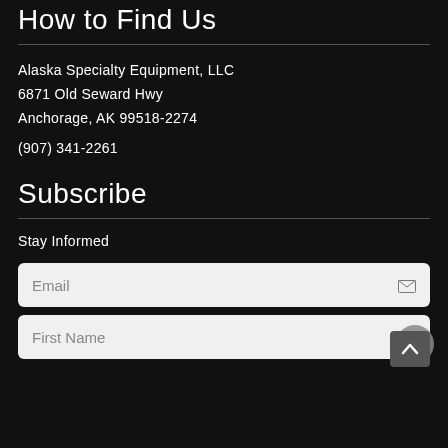How to Find Us
Alaska Specialty Equipment, LLC
6871 Old Seward Hwy
Anchorage, AK 99518-2274
(907) 341-2261
Subscribe
Stay Informed
[Figure (other): Email input field with envelope icon]
[Figure (other): First Name input field with overlapping circle element and arrow-up button]